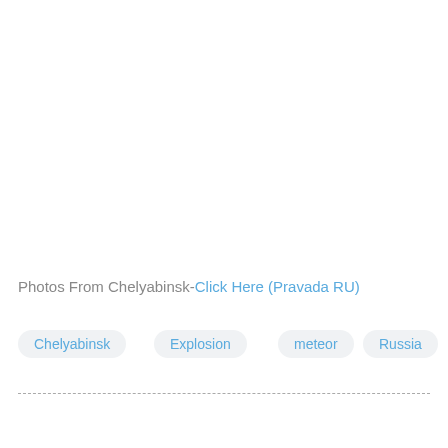Photos From Chelyabinsk-Click Here (Pravada RU)
Chelyabinsk
Explosion
meteor
Russia